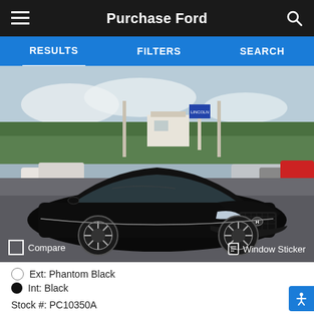Purchase Ford
RESULTS  FILTERS  SEARCH
[Figure (photo): Black Hyundai Sonata sedan parked at a car dealership lot with other vehicles visible in the background]
Compare
Window Sticker
Ext: Phantom Black
Int: Black
Stock #: PC10350A
32,135 mi.